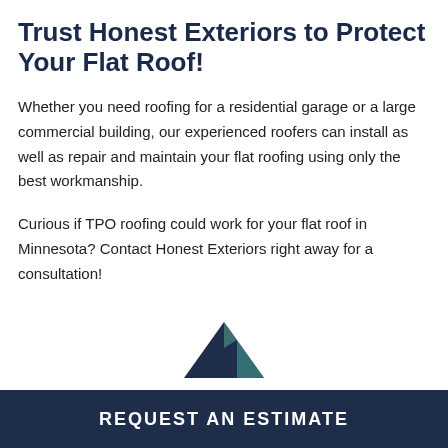Trust Honest Exteriors to Protect Your Flat Roof!
Whether you need roofing for a residential garage or a large commercial building, our experienced roofers can install as well as repair and maintain your flat roofing using only the best workmanship.
Curious if TPO roofing could work for your flat roof in Minnesota? Contact Honest Exteriors right away for a consultation!
[Figure (logo): Honest Exteriors logo - dark blue and teal triangle/house shape]
REQUEST AN ESTIMATE